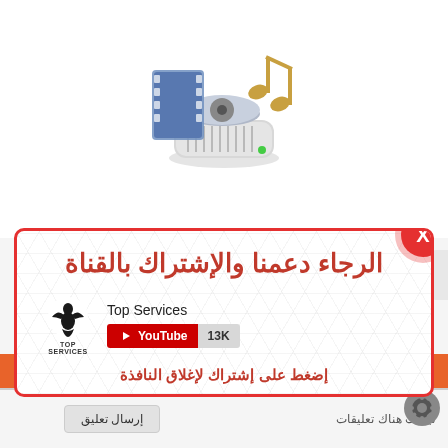[Figure (illustration): Media player software icon with film strip and music note on a white background]
[Figure (screenshot): Subscription modal popup with red border on hexagonal patterned background. Contains Arabic headline, Top Services YouTube channel logo with 13K subscribers, and Arabic subscribe instruction text. Red X close button in top right corner.]
الرجاء دعمنا والإشتراك بالقناة
Top Services
YouTube 13K
إضغط على إشتراك لإغلاق النافذة
تعليقات Blogger
ليست هناك تعليقات
إرسال تعليق